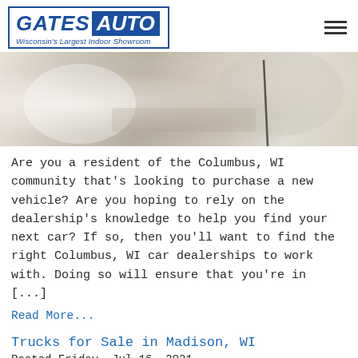GATES AUTO - Wisconsin's Largest Indoor Showroom
[Figure (photo): Two people at a desk in discussion, one person gesturing with hands, business meeting or car dealership consultation scene]
Are you a resident of the Columbus, WI community that's looking to purchase a new vehicle? Are you hoping to rely on the dealership's knowledge to help you find your next car? If so, then you'll want to find the right Columbus, WI car dealerships to work with. Doing so will ensure that you're in [...]
Read More...
Trucks for Sale in Madison, WI
Posted Friday, Jul 16, 2021
[Figure (photo): Partial image of trucks or vehicles for sale, bottom of page cropped]